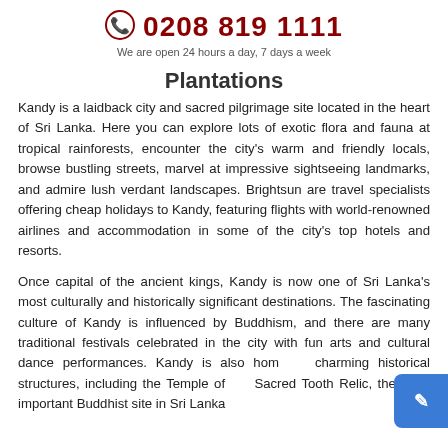0208 819 1111
We are open 24 hours a day, 7 days a week
Plantations
Kandy is a laidback city and sacred pilgrimage site located in the heart of Sri Lanka. Here you can explore lots of exotic flora and fauna at tropical rainforests, encounter the city's warm and friendly locals, browse bustling streets, marvel at impressive sightseeing landmarks, and admire lush verdant landscapes. Brightsun are travel specialists offering cheap holidays to Kandy, featuring flights with world-renowned airlines and accommodation in some of the city's top hotels and resorts.
Once capital of the ancient kings, Kandy is now one of Sri Lanka's most culturally and historically significant destinations. The fascinating culture of Kandy is influenced by Buddhism, and there are many traditional festivals celebrated in the city with fun arts and cultural dance performances. Kandy is also home to charming historical structures, including the Temple of the Sacred Tooth Relic, the most important Buddhist site in Sri Lanka